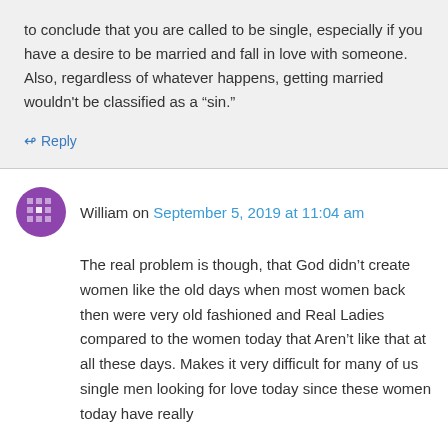to conclude that you are called to be single, especially if you have a desire to be married and fall in love with someone. Also, regardless of whatever happens, getting married wouldn't be classified as a "sin."
↳ Reply
William on September 5, 2019 at 11:04 am
The real problem is though, that God didn't create women like the old days when most women back then were very old fashioned and Real Ladies compared to the women today that Aren't like that at all these days. Makes it very difficult for many of us single men looking for love today since these women today have really